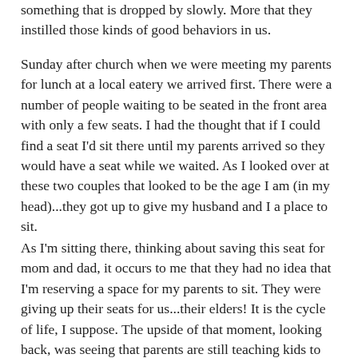something that is dropped by slowly. More that they instilled those kinds of good behaviors in us.
Sunday after church when we were meeting my parents for lunch at a local eatery we arrived first. There were a number of people waiting to be seated in the front area with only a few seats. I had the thought that if I could find a seat I'd sit there until my parents arrived so they would have a seat while we waited. As I looked over at these two couples that looked to be the age I am (in my head)...they got up to give my husband and I a place to sit.
As I'm sitting there, thinking about saving this seat for mom and dad, it occurs to me that they had no idea that I'm reserving a space for my parents to sit. They were giving up their seats for us...their elders! It is the cycle of life, I suppose. The upside of that moment, looking back, was seeing that parents are still teaching kids to have good manners, even in their 30s and 40s, as they do still